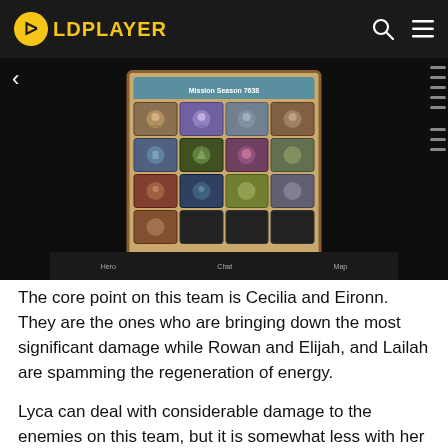LDPLAYER
[Figure (screenshot): Game screenshot showing a character selection or team formation screen with a grid of hero portraits in a fantasy RPG game, with navigation icons at the bottom (Hero, Chat, Map). Dark background with a tan/brown bordered panel containing character icons.]
The core point on this team is Cecilia and Eironn. They are the ones who are bringing down the most significant damage while Rowan and Elijah, and Lailah are spamming the regeneration of energy.
Lyca can deal with considerable damage to the enemies on this team, but it is somewhat less with her utilities like buffing and defense lowering. Neverthe